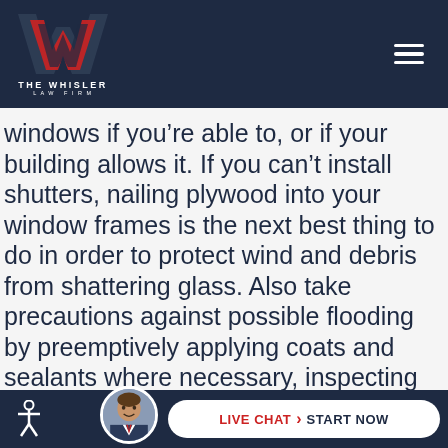The Whisler Law Firm
windows if you’re able to, or if your building allows it. If you can’t install shutters, nailing plywood into your window frames is the next best thing to do in order to protect wind and debris from shattering glass. Also take precautions against possible flooding by preemptively applying coats and sealants where necessary, inspecting your plumbing for any leaks or damage, and laying sandbags underneath doors
LIVE CHAT START NOW